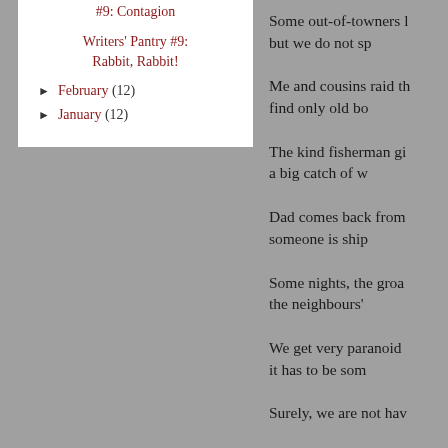#9: Contagion
Writers' Pantry #9: Rabbit, Rabbit!
► February (12)
► January (12)
Some out-of-towners l...
but we do not sp...
Me and cousins raid th...
find only old bo...
The kind fisherman gi...
a big catch of w...
Dad comes back from ...
someone is ship...
Some nights, the groa...
the neighbours'...
We get very paranoid ...
it has to be som...
Surely, we are not hav...